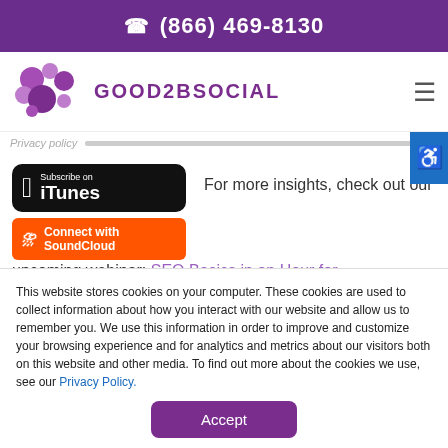(866) 469-8130
[Figure (logo): Good2BSocial logo with purple bubbles and text]
Privacy policy
[Figure (screenshot): Subscribe on iTunes button (black rounded rectangle with Apple logo)]
[Figure (screenshot): Connect with SoundCloud button (orange with SoundCloud icon)]
For more insights, check out our upcoming webinar: SEO Basics in an Hour for Lawyers and Legal Marketers and bring your
This website stores cookies on your computer. These cookies are used to collect information about how you interact with our website and allow us to remember you. We use this information in order to improve and customize your browsing experience and for analytics and metrics about our visitors both on this website and other media. To find out more about the cookies we use, see our Privacy Policy.
Accept